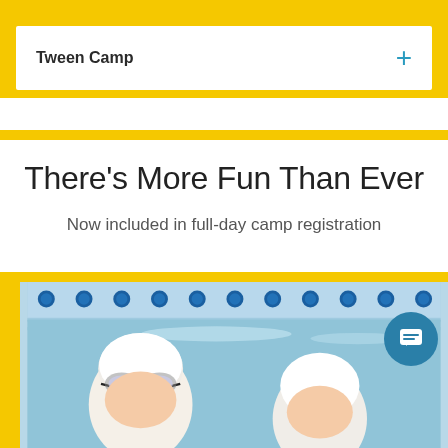Tween Camp
There’s More Fun Than Ever
Now included in full-day camp registration
[Figure (photo): Two children wearing white swim caps and goggles at a swimming pool, with blue lane dividers visible in the background]